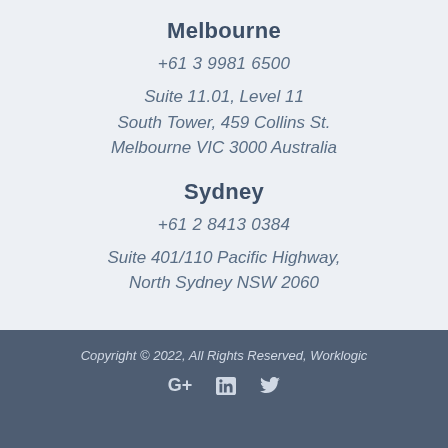Melbourne
+61 3 9981 6500
Suite 11.01, Level 11
South Tower, 459 Collins St.
Melbourne VIC 3000 Australia
Sydney
+61 2 8413 0384
Suite 401/110 Pacific Highway,
North Sydney NSW 2060
Copyright © 2022, All Rights Reserved, Worklogic